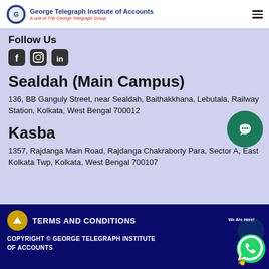George Telegraph Institute of Accounts — A unit of The George Telegraph Group
Follow Us
[Figure (other): Social media icons: Facebook, Instagram, LinkedIn]
Sealdah (Main Campus)
136, BB Ganguly Street, near Sealdah, Baithakkhana, Lebutala, Railway Station, Kolkata, West Bengal 700012
Kasba
1357, Rajdanga Main Road, Rajdanga Chakraborty Para, Sector A, East Kolkata Twp, Kolkata, West Bengal 700107
TERMS AND CONDITIONS
COPYRIGHT © GEORGE TELEGRAPH INSTITUTE OF ACCOUNTS